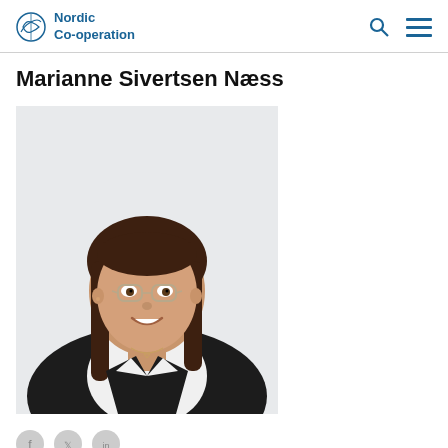Nordic Co-operation
Marianne Sivertsen Næss
[Figure (photo): Professional headshot of Marianne Sivertsen Næss, a woman with glasses, brown hair pulled back, wearing a dark blazer over a white top with a small necklace, smiling against a light background.]